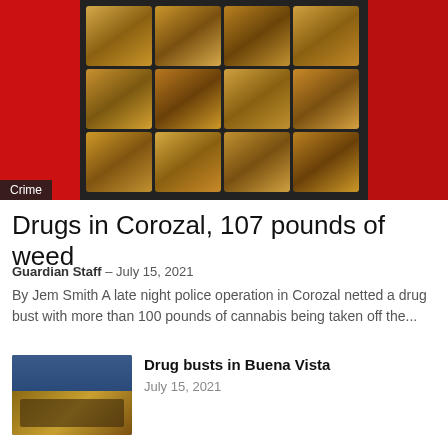[Figure (photo): Overhead photo of multiple brown cannabis bricks/packages arranged in rows on a dark surface, with red fabric visible on left and right sides]
Crime
Drugs in Corozal, 107 pounds of weed
Guardian Staff – July 15, 2021
By Jem Smith A late night police operation in Corozal netted a drug bust with more than 100 pounds of cannabis being taken off the...
[Figure (photo): Photo of stacked blue and brown rectangular drug packages]
Drug busts in Buena Vista
July 15, 2021
[Figure (photo): Photo of multiple brick-shaped packages of cannabis arranged together]
Lots of Weed in an Abandoned Car
July 15, 2021